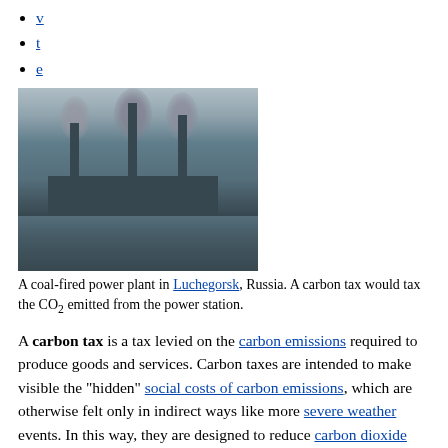v
t
e
[Figure (photo): A coal-fired power plant in Luchegorsk, Russia, with three tall smokestacks emitting dark smoke, reflecting in a body of water in the foreground. Sky is overcast.]
A coal-fired power plant in Luchegorsk, Russia. A carbon tax would tax the CO₂ emitted from the power station.
A carbon tax is a tax levied on the carbon emissions required to produce goods and services. Carbon taxes are intended to make visible the "hidden" social costs of carbon emissions, which are otherwise felt only in indirect ways like more severe weather events. In this way, they are designed to reduce carbon dioxide (CO₂) emissions by increasing prices of the fossil fuels that emit them when burned. This both decreases demand for goods and